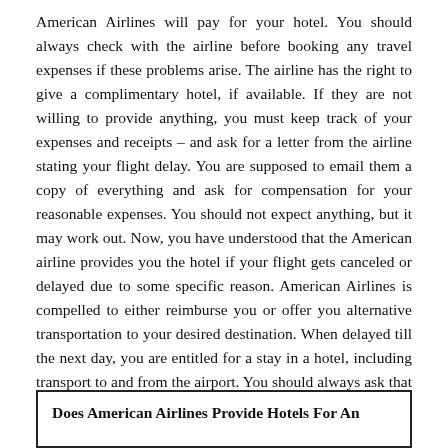American Airlines will pay for your hotel. You should always check with the airline before booking any travel expenses if these problems arise. The airline has the right to give a complimentary hotel, if available. If they are not willing to provide anything, you must keep track of your expenses and receipts – and ask for a letter from the airline stating your flight delay. You are supposed to email them a copy of everything and ask for compensation for your reasonable expenses. You should not expect anything, but it may work out. Now, you have understood that the American airline provides you the hotel if your flight gets canceled or delayed due to some specific reason. American Airlines is compelled to either reimburse you or offer you alternative transportation to your desired destination. When delayed till the next day, you are entitled for a stay in a hotel, including transport to and from the airport. You should always ask that confirmation of your hotel room and transfers must be provided in writing.
Does American Airlines Provide Hotels For An